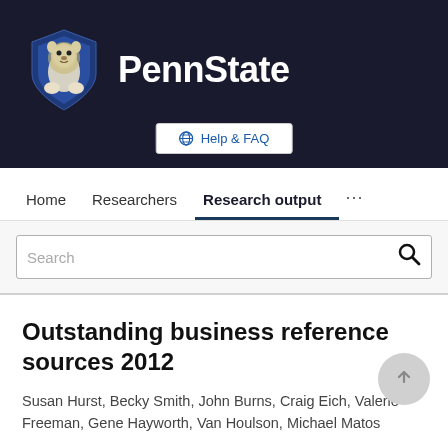[Figure (logo): Penn State University logo with lion shield and PennState wordmark on dark background]
Help & FAQ
Home   Researchers   Research output   ...
Search
Outstanding business reference sources 2012
Susan Hurst, Becky Smith, John Burns, Craig Eich, Valerie Freeman, Gene Hayworth, Van Houlson, Michael Matos